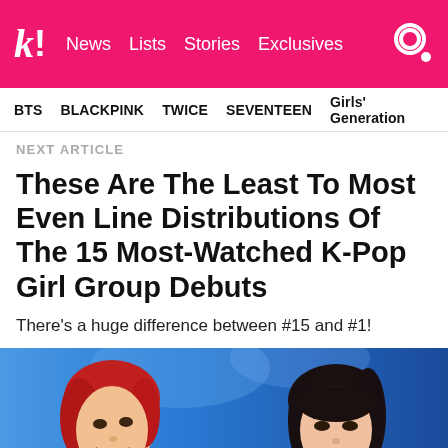K! News  Lists  Stories  Exclusives
BTS   BLACKPINK   TWICE   SEVENTEEN   Girls' Generation
NEXT ARTICLE
These Are The Least To Most Even Line Distributions Of The 15 Most-Watched K-Pop Girl Group Debuts
There's a huge difference between #15 and #1!
[Figure (photo): Two K-pop female artists on stage, one with red hair smiling on the left and one with dark hair on the right, blue stage lighting background]